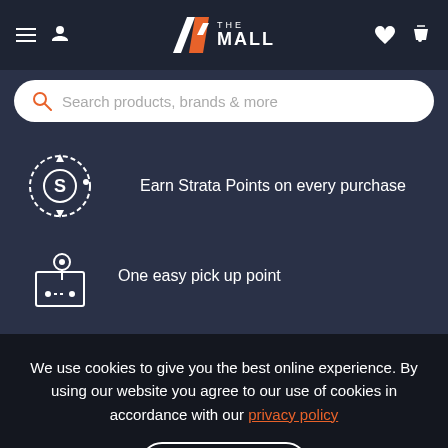A> THE MALL
Search products, brands & more
[Figure (illustration): Circular icon with letter S and arrows, representing Strata Points rewards]
Earn Strata Points on every purchase
[Figure (illustration): Map pin / location marker icon on a map with dotted path]
One easy pick up point
We use cookies to give you the best online experience. By using our website you agree to our use of cookies in accordance with our privacy policy
Continue